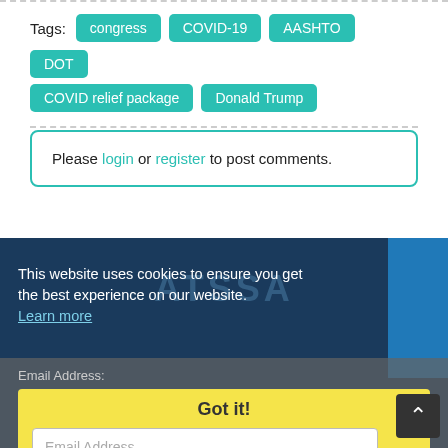Tags: congress  COVID-19  AASHTO  DOT  COVID relief package  Donald Trump
Please login or register to post comments.
ATSSA
This website uses cookies to ensure you get the best experience on our website. Learn more
Email Address:
Got it!
Email Address